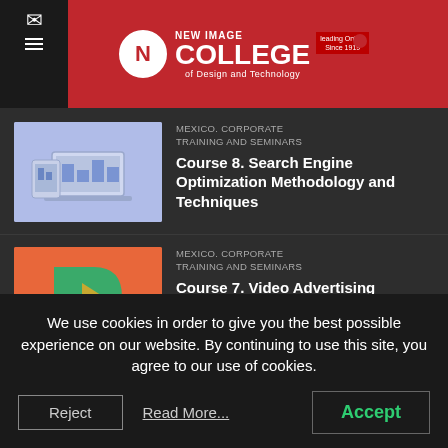New Image College of Design and Technology
MEXICO. CORPORATE TRAINING AND SEMINARS
Course 8. Search Engine Optimization Methodology and Techniques
[Figure (illustration): Blue-themed illustration of a laptop and tablet displaying analytics charts]
MEXICO. CORPORATE TRAINING AND SEMINARS
Course 7. Video Advertising Campaign. Strategy and
[Figure (illustration): Orange background with green play button icon for video course]
We use cookies in order to give you the best possible experience on our website. By continuing to use this site, you agree to our use of cookies.
Accept
Reject
Read More...